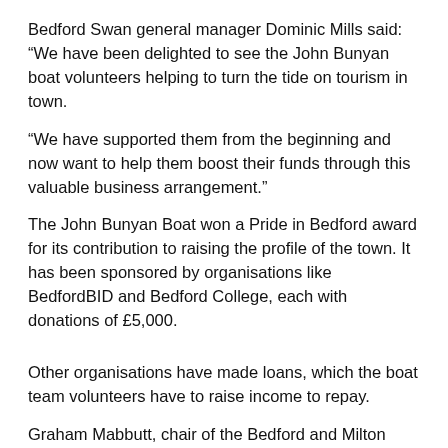Bedford Swan general manager Dominic Mills said: “We have been delighted to see the John Bunyan boat volunteers helping to turn the tide on tourism in town.
“We have supported them from the beginning and now want to help them boost their funds through this valuable business arrangement.”
The John Bunyan Boat won a Pride in Bedford award for its contribution to raising the profile of the town. It has been sponsored by organisations like BedfordBID and Bedford College, each with donations of £5,000.
Other organisations have made loans, which the boat team volunteers have to raise income to repay.
Graham Mabbutt, chair of the Bedford and Milton Keynes Waterway Trust which uses the boat to promote its dream of a river-canal link between Bedfordshire and Buckinghamshire